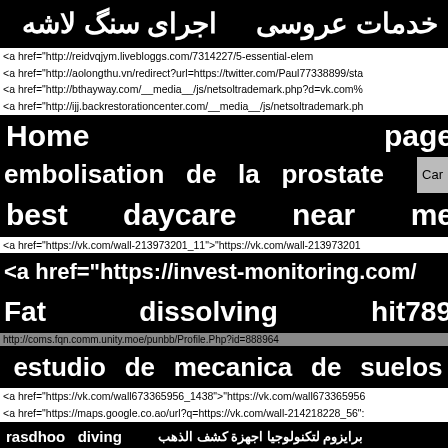خدمات عروسی   اجرای سنگ لاشه
<a href="http://reidvqjym.livebloggs.com/7314227/5-essential-elem
<a href="http://aolongthu.vn/redirect?url=https://twitter.com/Paul77338899/sta
<a href="http://bthayway.com/__media__/js/netsoltrademark.php?d=vk.com%
<a href="http://ijj.backrestorationcenter.com/__media__/js/netsoltrademark.ph
Home                                                    page
embolisation  de  la  prostate     Car
best       daycare       near       me
<a href="https://vk.com/wall-213973201_11">"https://vk.com/wall-213973201
<a href="https://invest-monitoring.com/
Fat              dissolving              hit789
http://coms.fqn.comm.unity.moe/punbb/Profile.Php?id=888964
estudio  de  mecanica  de  suelos
<a href="https://vk.com/wall673365956_1438">"https://vk.com/wall673365956
<a href="https://maps.google.co.ao/url?q=https://vk.com/wall-214218228_56":
rasdhoo  diving    برايزوم لتكنولوجيا اجهزة كشف الذهب
<a href="https://ok.ru/profile/597950536978/statuses
<a href="http://garfo.ru/safelink.php?url=https://twitter.com/Paul77338899/stat
□ □ □ □    □ □ □ □    □ □ □ □ □      money  loan  application
<a href="https://cnt-consult.ru/bitrix/rk.php?goto=https://vk.com/wall-21421822
roof               cleaning               lakewood               ranch
<a href="https://ok.ru/profile/585473417743/statuses